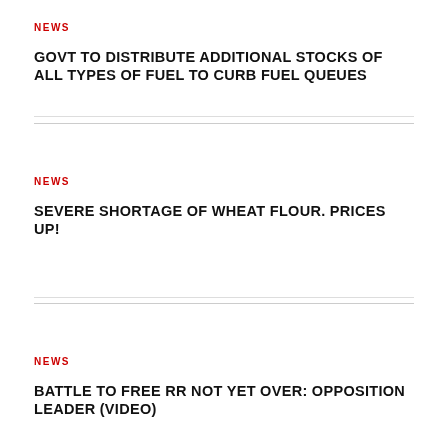NEWS
GOVT TO DISTRIBUTE ADDITIONAL STOCKS OF ALL TYPES OF FUEL TO CURB FUEL QUEUES
NEWS
SEVERE SHORTAGE OF WHEAT FLOUR. PRICES UP!
NEWS
BATTLE TO FREE RR NOT YET OVER: OPPOSITION LEADER (VIDEO)